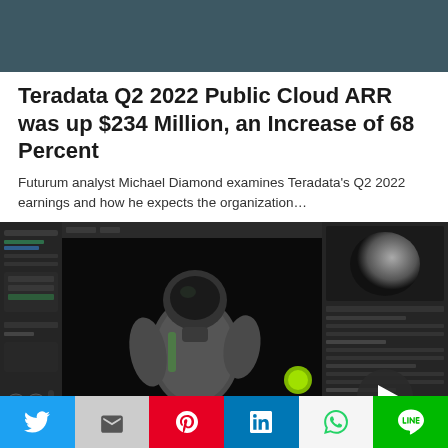[Figure (photo): Dark teal/slate colored banner header image]
Teradata Q2 2022 Public Cloud ARR was up $234 Million, an Increase of 68 Percent
Futurum analyst Michael Diamond examines Teradata's Q2 2022 earnings and how he expects the organization…
[Figure (screenshot): Screenshot of a dark video editing software interface showing an astronaut figure in a spacesuit, with panels and controls on the sides, and a play button overlay]
[Figure (other): Social sharing bar with Twitter, Mail, Pinterest, LinkedIn, WhatsApp, and LINE buttons]